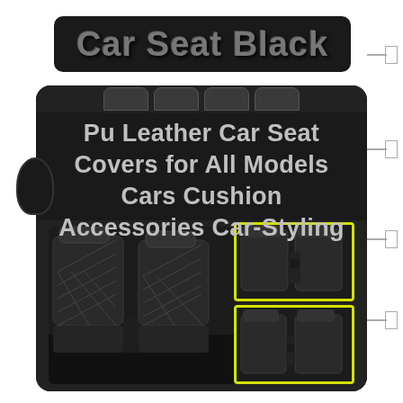Car Seat Black
Pu Leather Car Seat Covers for All Models Cars Cushion Accessories Car-Styling
[Figure (photo): Product listing image showing black PU leather car seat covers installed in a vehicle interior. Left image shows front seats with diamond-stitch quilted pattern black leather covers. Two smaller right images with yellow borders show rear seat views of the same black leather seat covers.]